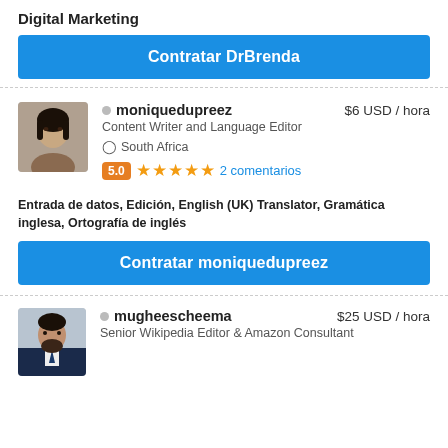Digital Marketing
Contratar DrBrenda
[Figure (photo): Profile photo of moniquedupreez, a woman with dark hair]
moniquedupreez   $6 USD / hora
Content Writer and Language Editor
South Africa
5.0  ★★★★★  2 comentarios
Entrada de datos, Edición, English (UK) Translator, Gramática inglesa, Ortografía de inglés
Contratar moniquedupreez
[Figure (photo): Profile photo of mugheescheema, a man in a suit]
mugheescheema   $25 USD / hora
Senior Wikipedia Editor & Amazon Consultant